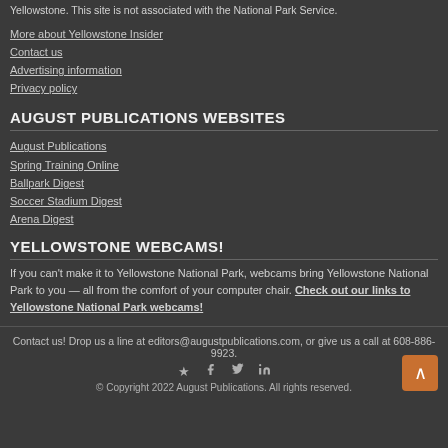Yellowstone. This site is not associated with the National Park Service.
More about Yellowstone Insider
Contact us
Advertising information
Privacy policy
AUGUST PUBLICATIONS WEBSITES
August Publications
Spring Training Online
Ballpark Digest
Soccer Stadium Digest
Arena Digest
YELLOWSTONE WEBCAMS!
If you can't make it to Yellowstone National Park, webcams bring Yellowstone National Park to you — all from the comfort of your computer chair. Check out our links to Yellowstone National Park webcams!
Contact us! Drop us a line at editors@augustpublications.com, or give us a call at 608-886-9923. © Copyright 2022 August Publications. All rights reserved.